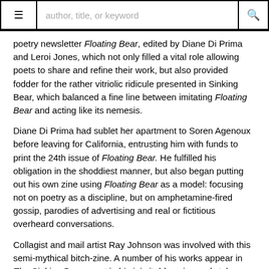≡  author, title, or keyword  🔍
poetry newsletter Floating Bear, edited by Diane Di Prima and Leroi Jones, which not only filled a vital role allowing poets to share and refine their work, but also provided fodder for the rather vitriolic ridicule presented in Sinking Bear, which balanced a fine line between imitating Floating Bear and acting like its nemesis.
Diane Di Prima had sublet her apartment to Soren Agenoux before leaving for California, entrusting him with funds to print the 24th issue of Floating Bear. He fulfilled his obligation in the shoddiest manner, but also began putting out his own zine using Floating Bear as a model: focusing not on poetry as a discipline, but on amphetamine-fired gossip, parodies of advertising and real or fictitious overheard conversations.
Collagist and mail artist Ray Johnson was involved with this semi-mythical bitch-zine. A number of his works appear in The Sinking Bear, most in his inimitable voice and style, including a collage based upon one of his pages from A Book About Death.
Reading The Sinking Bear gives the impression of being at a party where people are saying brilliant things, and you're torn between retreating and writing them down or staying at the party and risk